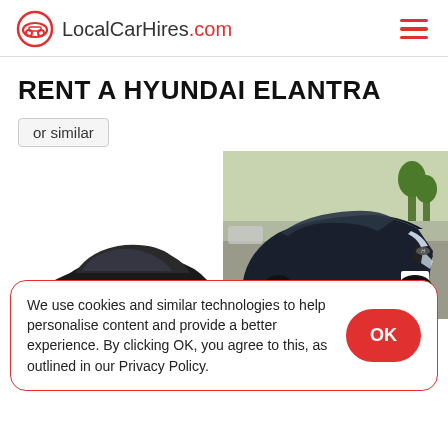LocalCarHires.com
RENT A HYUNDAI ELANTRA
or similar
[Figure (photo): Black Hyundai Elantra sedan, side profile view on white background]
[Figure (photo): Dark blue/black Hyundai Elantra sedan parked on a street, front three-quarter view]
We use cookies and similar technologies to help personalise content and provide a better experience. By clicking OK, you agree to this, as outlined in our Privacy Policy.